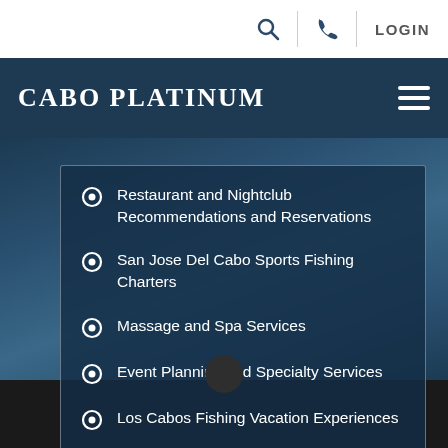LOGIN
CABO PLATINUM
Restaurant and Nightclub Recommendations and Reservations
San Jose Del Cabo Sports Fishing Charters
Massage and Spa Services
Event Planning and Specialty Services
Los Cabos Fishing Vacation Experiences